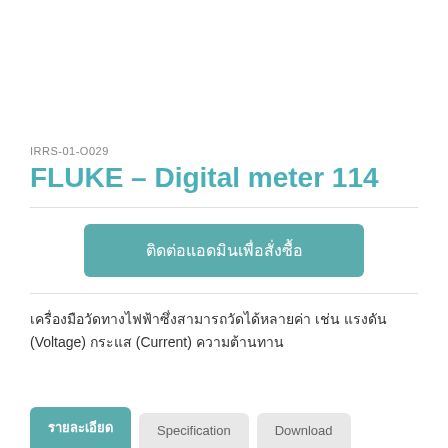IRRS-01-O029
FLUKE – Digital meter 114
ติดต่อแอดมินเพื่อสั่งซื้อ
เครื่องมือวัดทางไฟฟ้าซึ่งสามารถวัดได้หลายค่า เช่น แรงดัน (Voltage) กระแส (Current) ความต้านทาน
รายละเอียด  Specification  Download